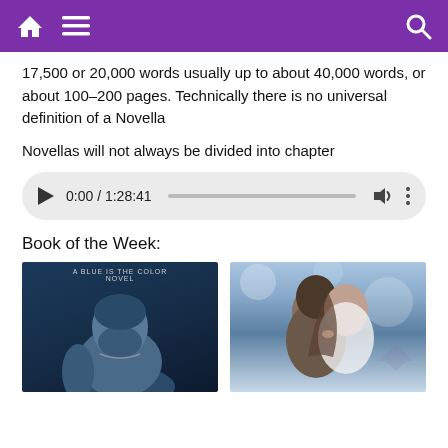Navigation bar with home, menu, and search icons
17,500 or 20,000 words usually up to about 40,000 words, or about 100–200 pages. Technically there is no universal definition of a Novella
Novellas will not always be divided into chapter
[Figure (other): Audio player showing 0:00 / 1:28:41 with play button, progress bar, volume and options icons]
Book of the Week:
[Figure (photo): Two book covers side by side. Left: A Blue is the Color Novel featuring a tattooed man. Right: A romance novel cover featuring a couple about to kiss.]